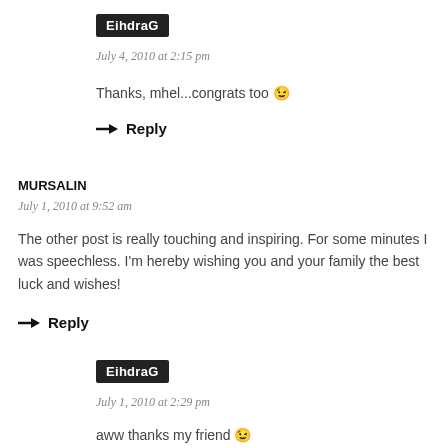EihdraG
July 4, 2010 at 2:15 pm
Thanks, mhel...congrats too 😉
→ Reply
MURSALIN
July 1, 2010 at 9:52 am
The other post is really touching and inspiring. For some minutes I was speechless. I'm hereby wishing you and your family the best luck and wishes!
→ Reply
EihdraG
July 1, 2010 at 2:29 pm
aww thanks my friend 😉